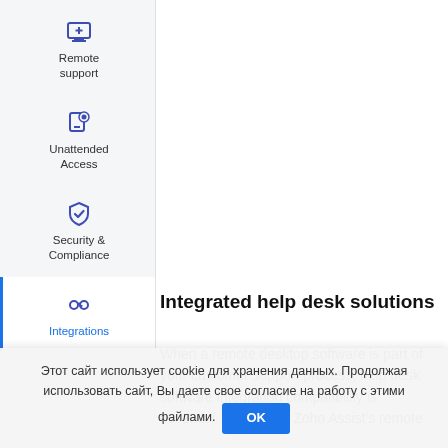[Figure (screenshot): Sidebar navigation with icons for Remote support, Unattended Access, Security & Compliance, and Integrations (active, highlighted in blue)]
Integrated help desk solutions
When a remote desktop software is part of your customer support process, help desk software integration compatibility is essential. That's why Zoho Assist's remote
Этот сайт использует cookie для хранения данных. Продолжая использовать сайт, Вы даете свое согласие на работу с этими файлами. OK